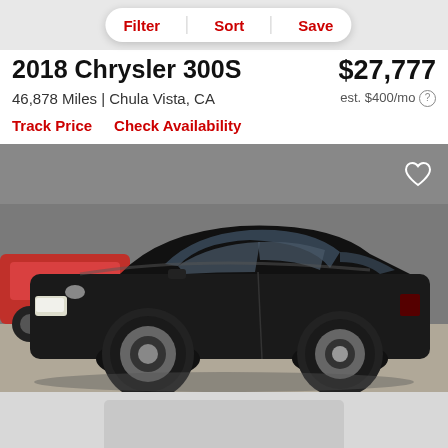Filter | Sort | Save
2018 Chrysler 300S
$27,777
46,878 Miles | Chula Vista, CA
est. $400/mo
Track Price
Check Availability
[Figure (photo): Black 2018 Chrysler 300S sedan parked in a lot, front three-quarter view, with a red car visible in the background on the left]